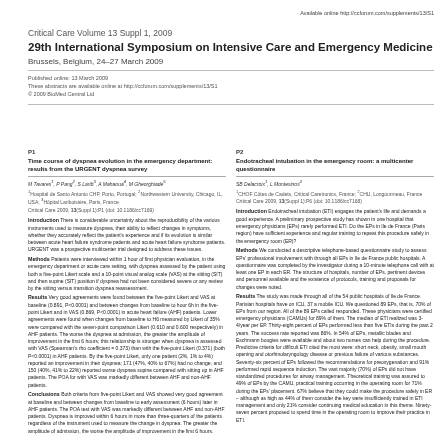Available online http://ccforum.com/supplements/13/S1
Critical Care Volume 13 Suppl 1, 2009
29th International Symposium on Intensive Care and Emergency Medicine
Brussels, Belgium, 24–27 March 2009
Published online: 13 March 2009
These abstracts are available online at http://ccforum.com/supplements/13/S1
© 2009 BioMed Central Ltd
P1
Time course of dyspnea evolution in the emergency department: results from the URGENT dyspnea survey
M Tavares1, P Pang2, S Larib3, A Mahaoua4, M Gheorghiade5
1Hospital de Santo Antonio CHP, Porto, Portugal; 2Northwestern University, Chicago, IL, USA; 3Hôpital Lariboisière, Paris, France
Critical Care 2009, 13(Suppl 1):P1 (doi: 10.1186/cc7169)
Introduction There is considerable uncertainty about the reproducibility of the various instruments used to measure dyspnea, their ability to reflect changes in symptoms, whether they accurately reflect the patient's experience and if its evolution is similar between acute heart failure syndrome patients and acute heart failure syndrome patients. URGENT was a prospective multicenter trial designed to address these issues.
Methods Patients were interviewed within 1 hour of first physician evaluation, in the emergency department or acute care setting, with dyspnea assessed by the patient using both a five-point Likert scale and a 10-point visual analog scale (VAS) at the sitting (SIT) and then supine (SIT) position if dyspnea had not been considered severe or any review by the sitting versus transition dyspnea reassessment.
Results Very good agreements were found between the five-point Likert and VAS at baseline (0.891, P<0.0001) and between changes from baseline to hour 6h in the five-point Likert and in VAS (0.869, P<0.0001) in acute heart failure (AHF) patients. Lower agreements were found when changes from baseline to H6 measured by Likert of 35% were compared with the seven-point comparison Likert (0.610 and 0.600 respectively) in AHF patients. The worse the dyspnea at admission, the greater the amplitude of improvement in the first 6 hours; this relationship is stronger when dyspnea is assessed with VAS (Spearman's rho coefficient = 0.373) than with the five-point Likert (0.371) (both P<0.0001) in AHF patients. By the five-point Likert, only one patient (2%, 1% to 4%) reported an improvement in their dyspnea; 171 (47%, 40% to 67%) had no change; and 150 (40%, 41% to 22%) reported worse dyspnea supine compared with sitting up in AHF patients. The POA for with VAS was markedly different between AHF and non-AHF patients.
Conclusions Both criteria from five-point Likert and VAS showed very good agreement at baseline and between changes from baseline to early assessment (6 hours) later in AHF patients. The POA test with VAS was markedly different between AHF and non-AHF patients. Dyspnea is improved within 6 hours in more than three-quarters of the patients regardless of the instrument used to measure the change in dyspnea. The greater the amplitude of admission, the worse the amplitude of improvement in the first 6 hours.
P2
Endotracheal intubation in the emergency room: a multicenter questionnaire
SB Delacroix1, L Montesinos2
1CHOF Côtes de Cadets, Critical Caretronics, France; 2CHU, Longourmeau, France
Critical Care 2009, 13(Suppl 1):P6 (doi: 10.1186/cc7168)
Introduction Endotracheal intubation (ETI) engages the patient's life and demands a good experience. A preliminary prospective study has shown in one hospital that emergency physicians (EPs) rarely performed ETI. Do the EPs in Ile de France (Paris region) have sufficient experience and regular training to repeat this procedure safely in the emergency room (ER)?
Methods We conducted a descriptive telephone-based questionnaire study to assess EPs' professional involvement with through all EPs in Ile de France public hospitals. A questionnaire was completed by the investigator during a 10-minute telephone call with at least one EP in each ER. The structure of hospitals, number of EPs, pertinent devices and personnel available and the existence of protocols, training and proposals for changes were noted.
Results The study was made through all of the 54 public hospitals of Ile de France. Parisian hospitals have on ICU, 37 a mobile ICU. We questioned 89 EPs, that is, 70% of EPs from our region. All of the 89 EPs called responded. These physicians were certified emergency physicians (CAMUs) for 89% of them. The median of ETI realized was 3-4/year per EP. Thirty-eight percent of EPs performed less than five ETIs during the past 2 years. The success rate reported was 86%. In 54% of EPs, metallic blades and Eschmann bougies were available and about two nurses can help during the procedure. Predictive criteria for difficult ETI cited the most were: short neck, obesity, small mouth opening and otorhinolaryngology disease or previous failure of various substances. Seventy-six percent of EPs followed the recommendations for preoxygenation and 91% performed rapid sequence induction. The vast majority (70%) of EPs did not have standardized procedures for airway management. Theoretical training was assured to 49% of EPs by the CAMU, practical training occurring in the operating room for 71% during the EPs' placement. 67% believe that they could make the procedure safely in ER – although as high as 44% of them consider the key were insufficiently trained in ETI management and only 21% consider continuing medical education in this theme. Ninety-seven percent proposed to spend time in the operating room to improve their practice in ETI.